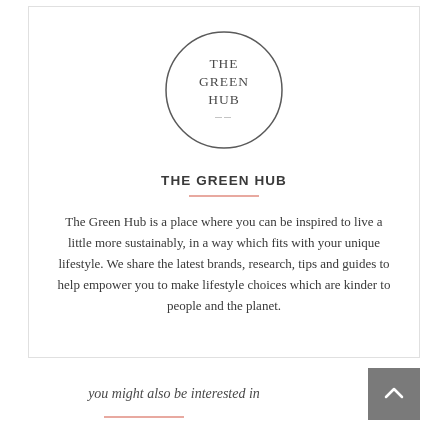[Figure (logo): The Green Hub logo: a thin circle with serif text inside reading THE GREEN HUB]
THE GREEN HUB
The Green Hub is a place where you can be inspired to live a little more sustainably, in a way which fits with your unique lifestyle. We share the latest brands, research, tips and guides to help empower you to make lifestyle choices which are kinder to people and the planet.
you might also be interested in